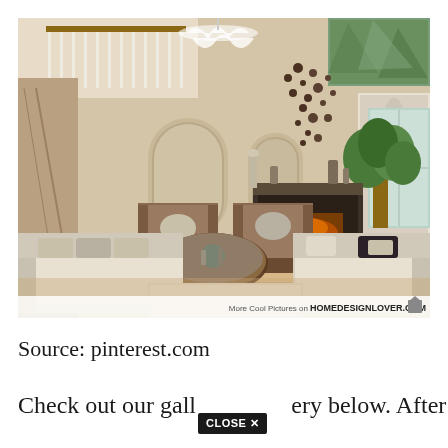[Figure (photo): Interior photo of a luxurious two-story living room with high ceilings, a chandelier, arched doorways, a fireplace, cream sofas, brown armchairs, a glass coffee table, decorative wall art, a tall indoor plant, and a watermark reading 'More Cool Pictures on HOMEDESIGNLOVER.COM']
Source: pinterest.com
Check out our gallery below. After almost